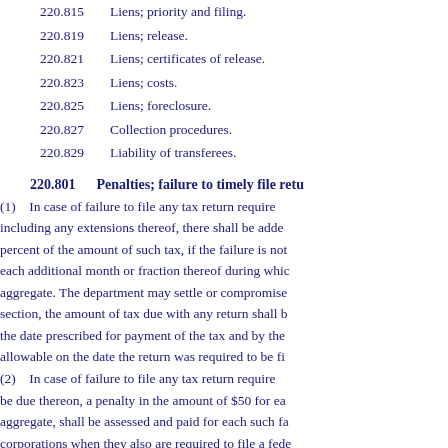220.815    Liens; priority and filing.
220.819    Liens; release.
220.821    Liens; certificates of release.
220.823    Liens; costs.
220.825    Liens; foreclosure.
220.827    Collection procedures.
220.829    Liability of transferees.
220.801    Penalties; failure to timely file retu
(1)    In case of failure to file any tax return require including any extensions thereof, there shall be adde percent of the amount of such tax, if the failure is not each additional month or fraction thereof during whic aggregate. The department may settle or compromise section, the amount of tax due with any return shall b the date prescribed for payment of the tax and by the allowable on the date the return was required to be fi
(2)    In case of failure to file any tax return require be due thereon, a penalty in the amount of $50 for ea aggregate, shall be assessed and paid for each such fa corporations when they also are required to file a fede
(3)    If any penalty is assessed under subsection (1 penalty under subsection (2) for failure to file a retu